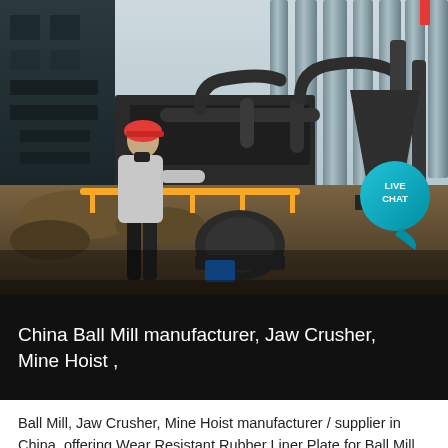[Figure (photo): Industrial mining facility with a worker in a red hard hat and grey jacket standing on a platform next to heavy machinery, pipes, and industrial silos/storage tanks in the background. A 'LIVE CHAT' bubble is visible in the top-right corner.]
China Ball Mill manufacturer, Jaw Crusher, Mine Hoist ,
Ball Mill, Jaw Crusher, Mine Hoist manufacturer / supplier in China, offering Wear Resistant Rubber Liner Plate for Ball Mill, Rubber Liner Plate for Large Ball Mills, Crusher Machine/Mining Crusher Equipment/Rock Crusher/Stone ,